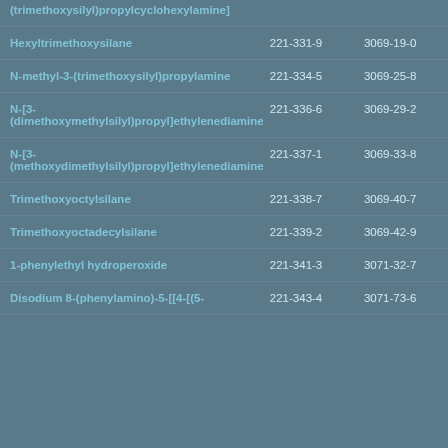| Name | EC Number | CAS Number |
| --- | --- | --- |
| (trimethoxysilyl)propylcyclohexylamine] |  |  |
| Hexyltrimethoxysilane | 221-331-9 | 3069-19-0 |
| N-methyl-3-(trimethoxysilyl)propylamine | 221-334-5 | 3069-25-8 |
| N-[3-(dimethoxymethylsilyl)propyl]ethylenediamine | 221-336-6 | 3069-29-2 |
| N-[3-(methoxydimethylsilyl)propyl]ethylenediamine | 221-337-1 | 3069-33-8 |
| Trimethoxyoctylsilane | 221-338-7 | 3069-40-7 |
| Trimethoxyoctadecylsilane | 221-339-2 | 3069-42-9 |
| 1-phenylethyl hydroperoxide | 221-341-3 | 3071-32-7 |
| Disodium 8-(phenylamino)-5-[[4-[(5- | 221-343-4 | 3071-73-6 |